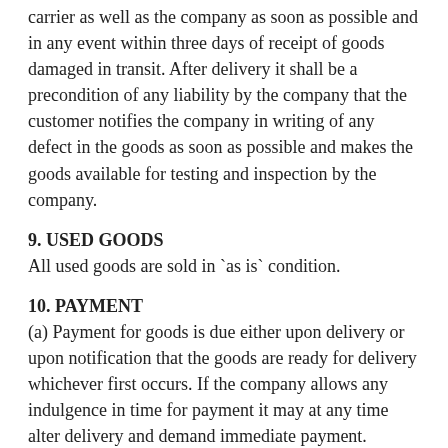carrier as well as the company as soon as possible and in any event within three days of receipt of goods damaged in transit. After delivery it shall be a precondition of any liability by the company that the customer notifies the company in writing of any defect in the goods as soon as possible and makes the goods available for testing and inspection by the company.
9. USED GOODS
All used goods are sold in `as is` condition.
10. PAYMENT
(a) Payment for goods is due either upon delivery or upon notification that the goods are ready for delivery whichever first occurs. If the company allows any indulgence in time for payment it may at any time alter delivery and demand immediate payment.
(b) If payment is not made when due the company may charge interest at two percent per month or part thereof on any outstanding balance due to it and/or suspend or cancel any contract without prejudice to its rights to recover in accordance with the terms hereof of any outstanding sums due to it.
(c) The customer will indemnify the company in respect